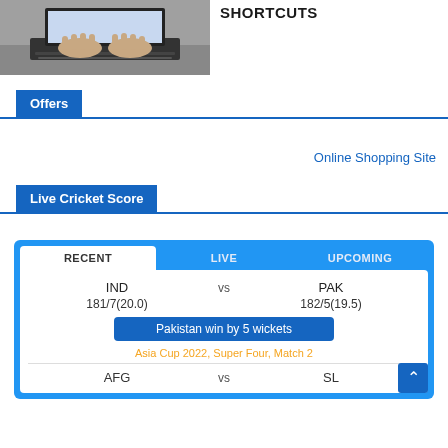[Figure (photo): Person typing on a laptop keyboard, close-up of hands]
SHORTCUTS
Offers
Online Shopping Site
Live Cricket Score
| RECENT | LIVE | UPCOMING |
| --- | --- | --- |
| IND | vs | PAK |
| 181/7(20.0) |  | 182/5(19.5) |
| Pakistan win by 5 wickets |  |  |
| Asia Cup 2022, Super Four, Match 2 |  |  |
| AFG | vs | SL |